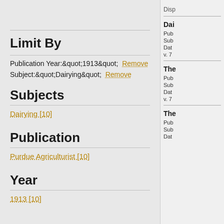Limit By
Publication Year:&quot;1913&quot; Remove
Subject:&quot;Dairying&quot; Remove
Subjects
Dairying [10]
Publication
Purdue Agriculturist [10]
Year
1913 [10]
Disp
Dai
Pub
Sub
Dat
v. 7
The
Pub
Sub
Dat
v. 7
The
Pub
Sub